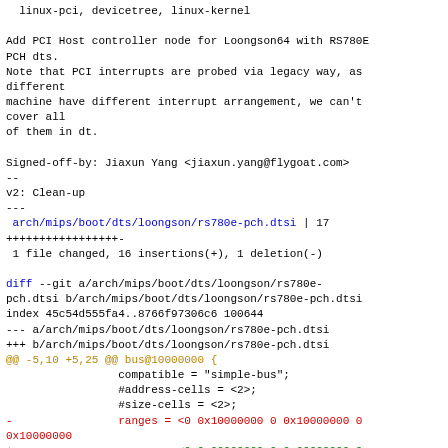linux-pci, devicetree, linux-kernel

Add PCI Host controller node for Loongson64 with RS780E PCH dts.
Note that PCI interrupts are probed via legacy way, as different
machine have different interrupt arrangement, we can't cover all
of them in dt.

Signed-off-by: Jiaxun Yang <jiaxun.yang@flygoat.com>
--
v2: Clean-up
---
 arch/mips/boot/dts/loongson/rs780e-pch.dtsi | 17
+++++++++++++++++-
 1 file changed, 16 insertions(+), 1 deletion(-)

diff --git a/arch/mips/boot/dts/loongson/rs780e-pch.dtsi b/arch/mips/boot/dts/loongson/rs780e-pch.dtsi
index 45c54d555fa4..8766f97306c6 100644
--- a/arch/mips/boot/dts/loongson/rs780e-pch.dtsi
+++ b/arch/mips/boot/dts/loongson/rs780e-pch.dtsi
@@ -5,10 +5,25 @@ bus@10000000 {
                 compatible = "simple-bus";
                 #address-cells = <2>;
                 #size-cells = <2>;
-                ranges = <0 0x10000000 0 0x10000000 0 0x10000000
+                ranges = <0 0x00000000 0 0x00000000 0
0x00010000 // dummy entry